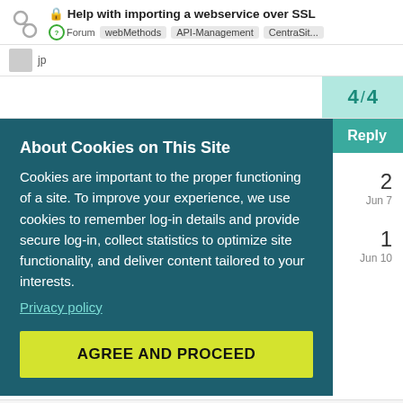Help with importing a webservice over SSL | Forum | webMethods | API-Management | CentraSit...
4 / 4
About Cookies on This Site
Cookies are important to the proper functioning of a site. To improve your experience, we use cookies to remember log-in details and provide secure log-in, collect statistics to optimize site functionality, and deliver content tailored to your interests.
Privacy policy
AGREE AND PROCEED
Reply
2
Jun 7
1
Jun 10